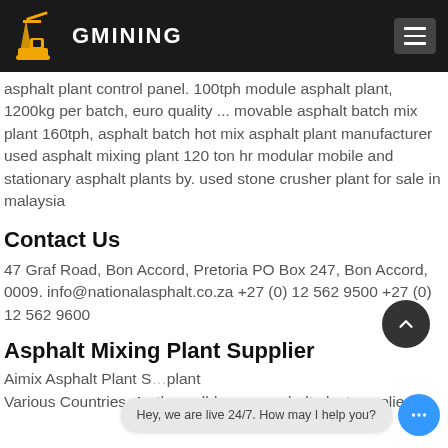GMINING
asphalt plant control panel. 100tph module asphalt plant, 1200kg per batch, euro quality ... movable asphalt batch mix plant 160tph, asphalt batch hot mix asphalt plant manufacturer used asphalt mixing plant 120 ton hr modular mobile and stationary asphalt plants by. used stone crusher plant for sale in malaysia
Contact Us
47 Graf Road, Bon Accord, Pretoria PO Box 247, Bon Accord, 0009. info@nationalasphalt.co.za +27 (0) 12 562 9500 +27 (0) 12 562 9600
Asphalt Mixing Plant Supplier
Aimix Asphalt Plant S... plant Various Countries. As the well-known asphalt plant supplier